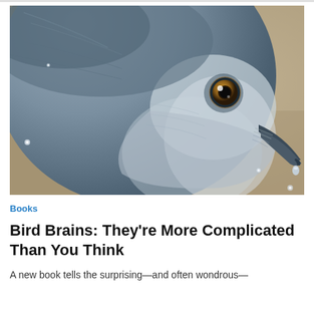[Figure (photo): Close-up photograph of a gray bird (likely a Clark's Nutcracker or similar corvid) with detailed feathers, a dark eye with golden-amber iris, and a dark curved beak. The bird is photographed against a blurred beige/tan background with small white snowflakes or water droplets visible.]
Books
Bird Brains: They're More Complicated Than You Think
A new book tells the surprising—and often wondrous—